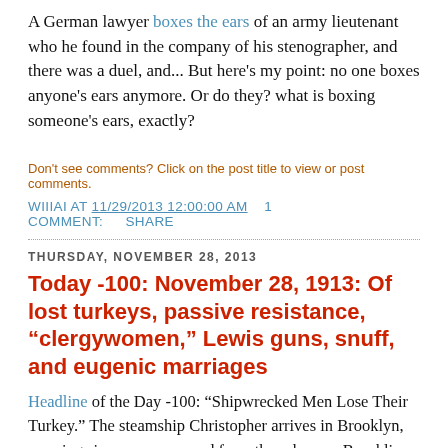A German lawyer boxes the ears of an army lieutenant who he found in the company of his stenographer, and there was a duel, and... But here's my point: no one boxes anyone's ears anymore. Or do they? what is boxing someone's ears, exactly?
Don't see comments? Click on the post title to view or post comments.
WIIIAI AT 11/29/2013 12:00:00 AM   1 COMMENT:   SHARE
THURSDAY, NOVEMBER 28, 2013
Today -100: November 28, 1913: Of lost turkeys, passive resistance, “clergywomen,” Lewis guns, snuff, and eugenic marriages
Headline of the Day -100: “Shipwrecked Men Lose Their Turkey.” The steamship Christopher arrives in Brooklyn, carrying six seamen rescued from the schooner Brookline, which was wrecked off Barbados. The ones who “lose their turkey” are five whose citizenship papers were lost in the